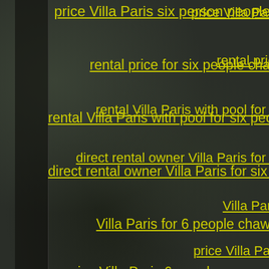price Villa Paris six person people
rental price for six people cha…
rental Villa Paris with pool for six people
direct rental owner Villa Paris for six people
Villa Paris for 6 people chaw…
price Villa Paris 6 people persons
rental price for 6 people persons
Villa Paris rental pool house for 6 people
direct rental Villa Paris owner pool for 6 peop…
house Villa Paris for five people d…
home Villa Paris price five people…